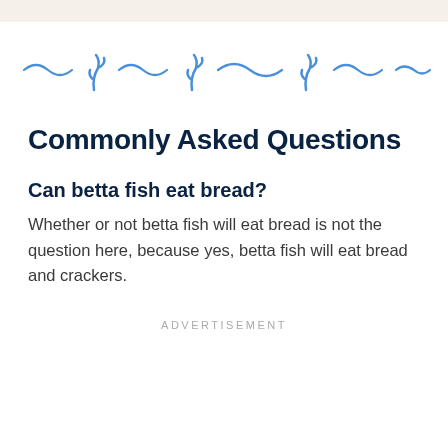[Figure (illustration): Decorative blue wavy lines and seaweed/plant icons divider]
Commonly Asked Questions
Can betta fish eat bread?
Whether or not betta fish will eat bread is not the question here, because yes, betta fish will eat bread and crackers.
ADVERTISEMENT